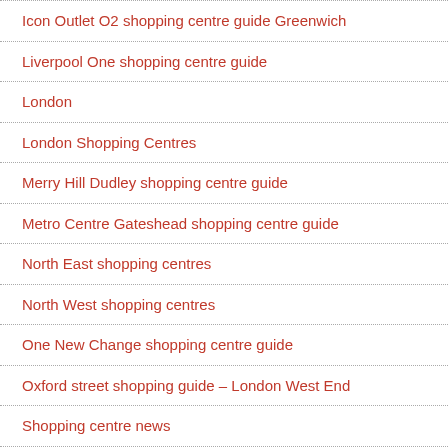Icon Outlet O2 shopping centre guide Greenwich
Liverpool One shopping centre guide
London
London Shopping Centres
Merry Hill Dudley shopping centre guide
Metro Centre Gateshead shopping centre guide
North East shopping centres
North West shopping centres
One New Change shopping centre guide
Oxford street shopping guide – London West End
Shopping centre news